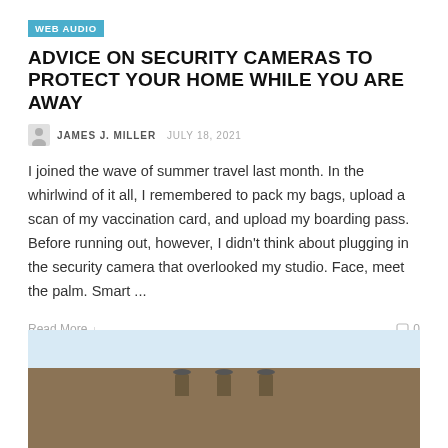WEB AUDIO
ADVICE ON SECURITY CAMERAS TO PROTECT YOUR HOME WHILE YOU ARE AWAY
JAMES J. MILLER  JULY 18, 2021
I joined the wave of summer travel last month. In the whirlwind of it all, I remembered to pack my bags, upload a scan of my vaccination card, and upload my boarding pass. Before running out, however, I didn't think about plugging in the security camera that overlooked my studio. Face, meet the palm. Smart ...
Read More  0
[Figure (photo): Photo showing the top of a brick building with chimney-like structures against a sky background]